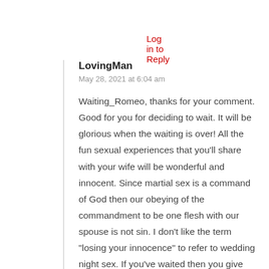Log in to Reply
LovingMan
May 28, 2021 at 6:04 am
Waiting_Romeo, thanks for your comment. Good for you for deciding to wait. It will be glorious when the waiting is over! All the fun sexual experiences that you'll share with your wife will be wonderful and innocent. Since martial sex is a command of God then our obeying of the commandment to be one flesh with our spouse is not sin. I don't like the term “losing your innocence” to refer to wedding night sex. If you've waited then you give your virginity to